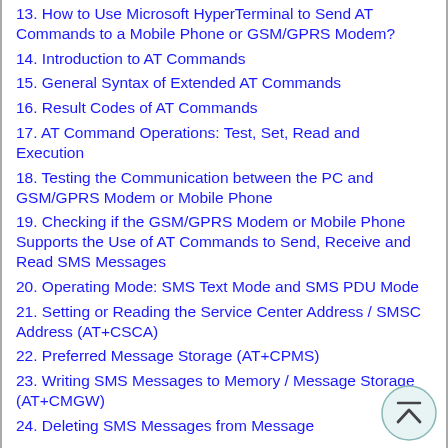13. How to Use Microsoft HyperTerminal to Send AT Commands to a Mobile Phone or GSM/GPRS Modem?
14. Introduction to AT Commands
15. General Syntax of Extended AT Commands
16. Result Codes of AT Commands
17. AT Command Operations: Test, Set, Read and Execution
18. Testing the Communication between the PC and GSM/GPRS Modem or Mobile Phone
19. Checking if the GSM/GPRS Modem or Mobile Phone Supports the Use of AT Commands to Send, Receive and Read SMS Messages
20. Operating Mode: SMS Text Mode and SMS PDU Mode
21. Setting or Reading the Service Center Address / SMSC Address (AT+CSCA)
22. Preferred Message Storage (AT+CPMS)
23. Writing SMS Messages to Memory / Message Storage (AT+CMGW)
24. Deleting SMS Messages from Message